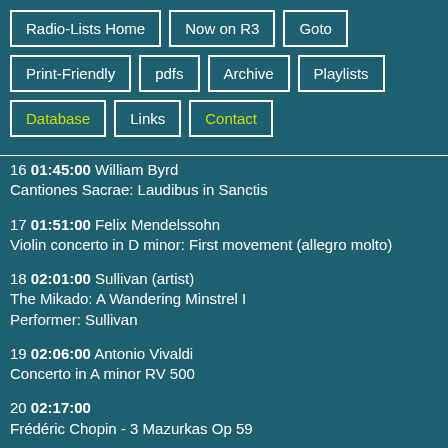Radio-Lists Home
Now on R3
Goto
Print-Friendly
pdfs
Archive
Playlists
Database
Links
Contact
16 01:45:00 William Byrd
Cantiones Sacrae: Laudibus in Sanctis
17 01:51:00 Felix Mendelssohn
Violin concerto in D minor: First movement (allegro molto)
18 02:01:00 Sullivan (artist)
The Mikado: A Wandering Minstrel I
Performer: Sullivan
19 02:06:00 Antonio Vivaldi
Concerto in A minor RV 500
20 02:17:00
Frédéric Chopin - 3 Mazurkas Op 59